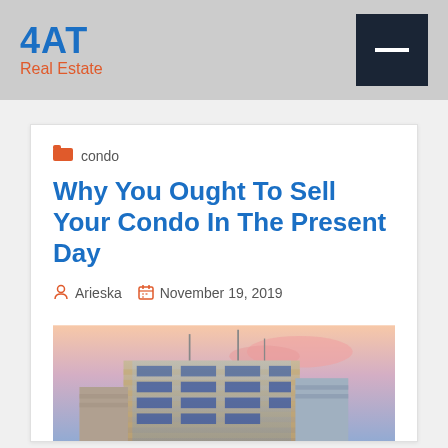4AT Real Estate
condo
Why You Ought To Sell Your Condo In The Present Day
Arieska   November 19, 2019
[Figure (photo): Photo of a modern condo/office building with blue glass facade against a pink-tinted sky]